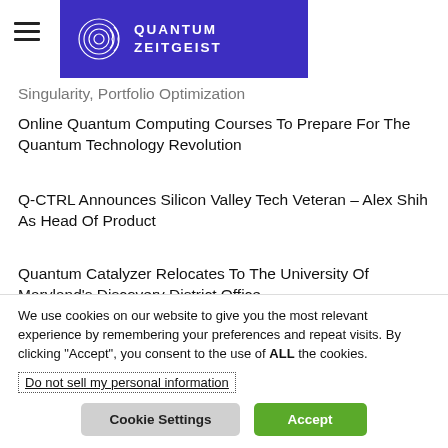QUANTUM ZEITGEIST
Singularity, Portfolio Optimization
Online Quantum Computing Courses To Prepare For The Quantum Technology Revolution
Q-CTRL Announces Silicon Valley Tech Veteran – Alex Shih As Head Of Product
Quantum Catalyzer Relocates To The University Of Maryland's Discovery District Office
2xN Announces $120m Fund For Quantum Computing Startups In Europe And The US
We use cookies on our website to give you the most relevant experience by remembering your preferences and repeat visits. By clicking "Accept", you consent to the use of ALL the cookies. Do not sell my personal information